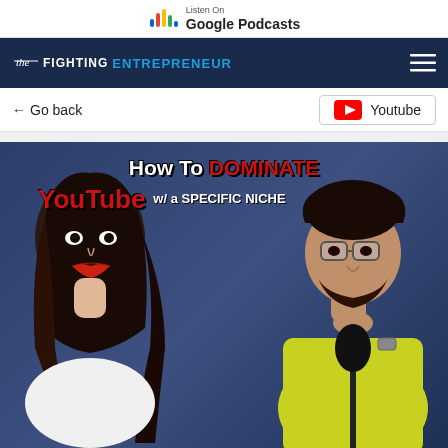Listen On Google Podcasts
The Fighting Entrepreneur
← Go back
Youtube
[Figure (photo): Thumbnail image with text overlay reading 'How To DOMINATE YouTube w/a SPECIFIC NICHE'. Shows a woman with dark hair on the left and a man in a yellow shirt on the right, seated at a microphone in a podcast studio setting.]